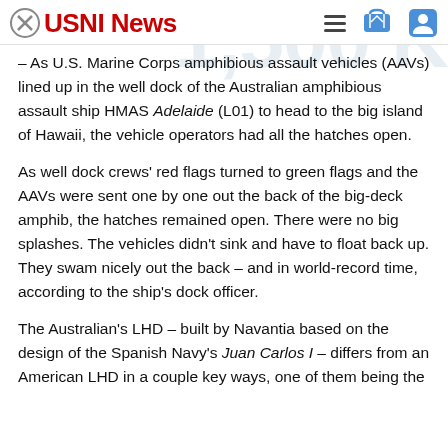USNI News
– As U.S. Marine Corps amphibious assault vehicles (AAVs) lined up in the well dock of the Australian amphibious assault ship HMAS Adelaide (L01) to head to the big island of Hawaii, the vehicle operators had all the hatches open.
As well dock crews' red flags turned to green flags and the AAVs were sent one by one out the back of the big-deck amphib, the hatches remained open. There were no big splashes. The vehicles didn't sink and have to float back up. They swam nicely out the back – and in world-record time, according to the ship's dock officer.
The Australian's LHD – built by Navantia based on the design of the Spanish Navy's Juan Carlos I – differs from an American LHD in a couple key ways, one of them being the